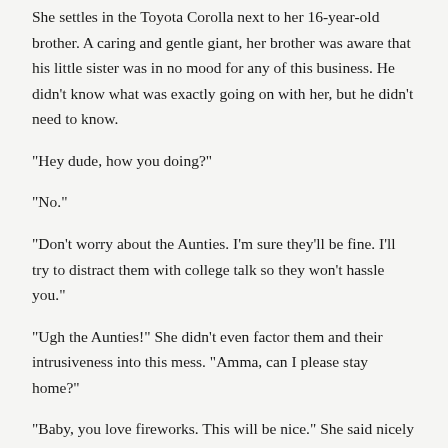She settles in the Toyota Corolla next to her 16-year-old brother. A caring and gentle giant, her brother was aware that his little sister was in no mood for any of this business. He didn't know what was exactly going on with her, but he didn't need to know.

“Hey dude, how you doing?”

“No.”

“Don’t worry about the Aunties. I’m sure they’ll be fine. I’ll try to distract them with college talk so they won’t hassle you.”

“Ugh the Aunties!” She didn’t even factor them and their intrusiveness into this mess. “Amma, can I please stay home?”

“Baby, you love fireworks. This will be nice.” She said nicely but with the stern tone indicating that no one was escaping this car until we all reach the park together. Her mom also hadn’t mentioned the “big news” since she got home that evening—and this was not the time to test her. Plus her mom